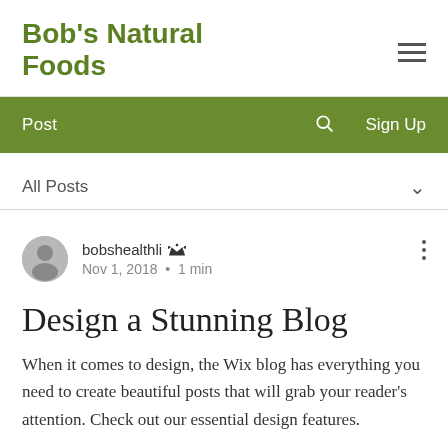Bob's Natural Foods
Post  Sign Up
All Posts
bobshealthli  Nov 1, 2018 · 1 min
Design a Stunning Blog
When it comes to design, the Wix blog has everything you need to create beautiful posts that will grab your reader's attention. Check out our essential design features.